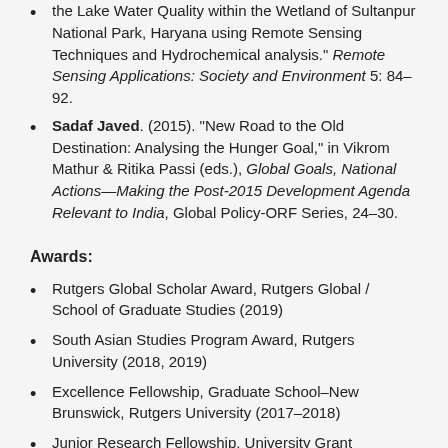the Lake Water Quality within the Wetland of Sultanpur National Park, Haryana using Remote Sensing Techniques and Hydrochemical analysis." Remote Sensing Applications: Society and Environment 5: 84–92.
Sadaf Javed. (2015). "New Road to the Old Destination: Analysing the Hunger Goal," in Vikrom Mathur & Ritika Passi (eds.), Global Goals, National Actions—Making the Post-2015 Development Agenda Relevant to India, Global Policy-ORF Series, 24–30.
Awards:
Rutgers Global Scholar Award, Rutgers Global / School of Graduate Studies (2019)
South Asian Studies Program Award, Rutgers University (2018, 2019)
Excellence Fellowship, Graduate School–New Brunswick, Rutgers University (2017–2018)
Junior Research Fellowship, University Grant Commission, Government of India (2012–2017)